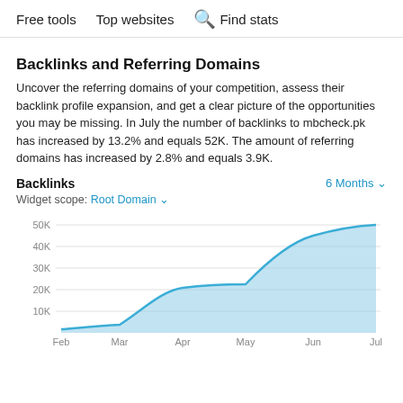Free tools   Top websites   🔍 Find stats
Backlinks and Referring Domains
Uncover the referring domains of your competition, assess their backlink profile expansion, and get a clear picture of the opportunities you may be missing. In July the number of backlinks to mbcheck.pk has increased by 13.2% and equals 52K. The amount of referring domains has increased by 2.8% and equals 3.9K.
Backlinks   6 Months ▾
Widget scope: Root Domain ▾
[Figure (area-chart): Backlinks over 6 Months]